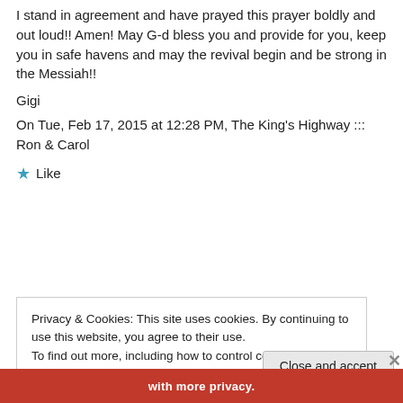I stand in agreement and have prayed this prayer boldly and out loud!! Amen! May G-d bless you and provide for you, keep you in safe havens and may the revival begin and be strong in the Messiah!!
Gigi
On Tue, Feb 17, 2015 at 12:28 PM, The King's Highway ::: Ron & Carol
★ Like
Privacy & Cookies: This site uses cookies. By continuing to use this website, you agree to their use.
To find out more, including how to control cookies, see here: Cookie Policy
Close and accept